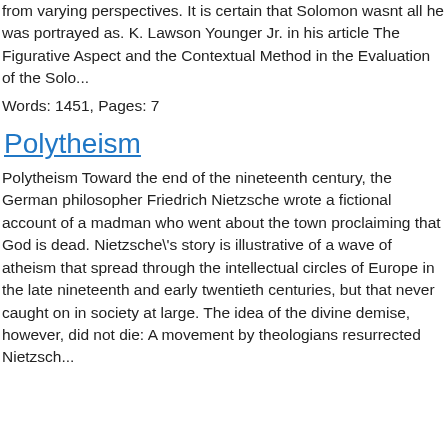from varying perspectives. It is certain that Solomon wasnt all he was portrayed as. K. Lawson Younger Jr. in his article The Figurative Aspect and the Contextual Method in the Evaluation of the Solo...
Words: 1451, Pages: 7
Polytheism
Polytheism Toward the end of the nineteenth century, the German philosopher Friedrich Nietzsche wrote a fictional account of a madman who went about the town proclaiming that God is dead. Nietzsche\'s story is illustrative of a wave of atheism that spread through the intellectual circles of Europe in the late nineteenth and early twentieth centuries, but that never caught on in society at large. The idea of the divine demise, however, did not die: A movement by theologians resurrected Nietzsch...